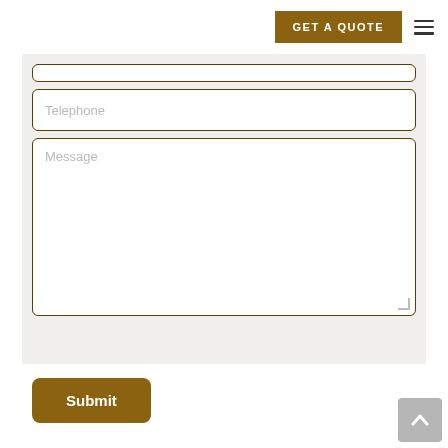GET A QUOTE
Telephone
Message
Submit